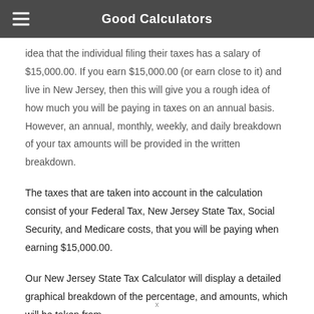Good Calculators
idea that the individual filing their taxes has a salary of $15,000.00. If you earn $15,000.00 (or earn close to it) and live in New Jersey, then this will give you a rough idea of how much you will be paying in taxes on an annual basis. However, an annual, monthly, weekly, and daily breakdown of your tax amounts will be provided in the written breakdown.
The taxes that are taken into account in the calculation consist of your Federal Tax, New Jersey State Tax, Social Security, and Medicare costs, that you will be paying when earning $15,000.00.
Our New Jersey State Tax Calculator will display a detailed graphical breakdown of the percentage, and amounts, which will be taken from